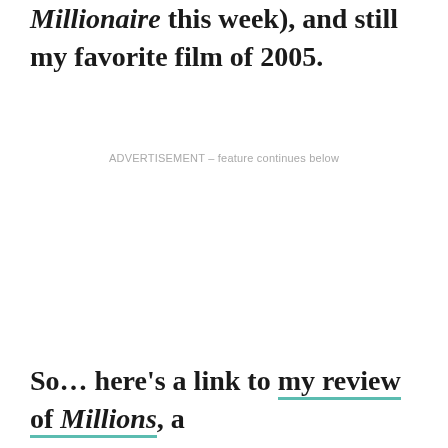Millionaire this week), and still my favorite film of 2005.
ADVERTISEMENT – feature continues below
So… here's a link to my review of Millions, a